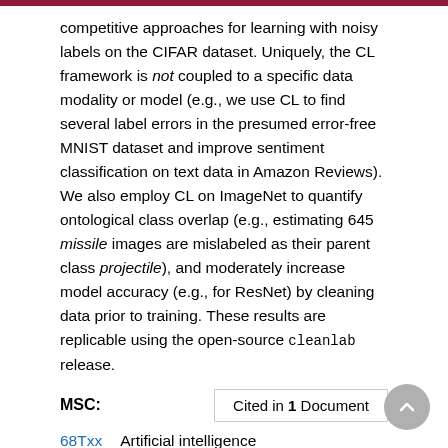competitive approaches for learning with noisy labels on the CIFAR dataset. Uniquely, the CL framework is not coupled to a specific data modality or model (e.g., we use CL to find several label errors in the presumed error-free MNIST dataset and improve sentiment classification on text data in Amazon Reviews). We also employ CL on ImageNet to quantify ontological class overlap (e.g., estimating 645 missile images are mislabeled as their parent class projectile), and moderately increase model accuracy (e.g., for ResNet) by cleaning data prior to training. These results are replicable using the open-source cleanlab release.
MSC:
Cited in 1 Document
68Txx   Artificial intelligence
Keywords:
machine learning; uncertainty; ontologies